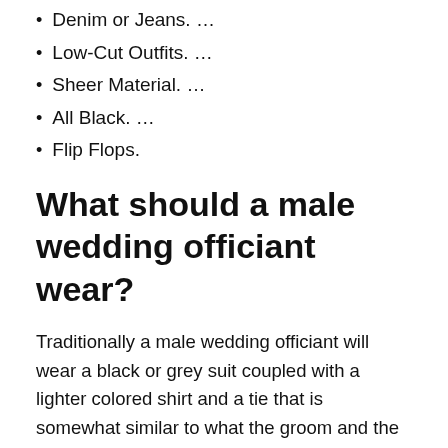Denim or Jeans. …
Low-Cut Outfits. …
Sheer Material. …
All Black. …
Flip Flops.
What should a male wedding officiant wear?
Traditionally a male wedding officiant will wear a black or grey suit coupled with a lighter colored shirt and a tie that is somewhat similar to what the groom and the groomsmen are wearing. Be careful, though, not to stand too out too much to not distract the guest's attention from the wedding party.